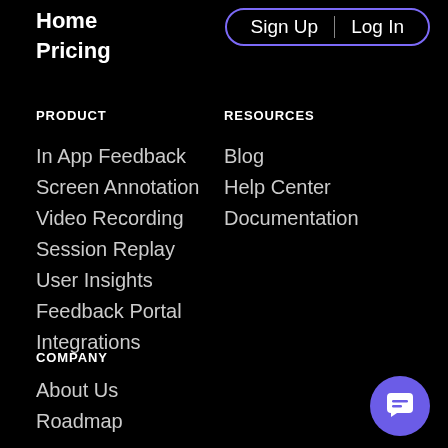Home
Pricing
Sign Up | Log In
PRODUCT
In App Feedback
Screen Annotation
Video Recording
Session Replay
User Insights
Feedback Portal
Integrations
RESOURCES
Blog
Help Center
Documentation
COMPANY
About Us
Roadmap
[Figure (illustration): Purple chat button with speech bubble icon in bottom-right corner]